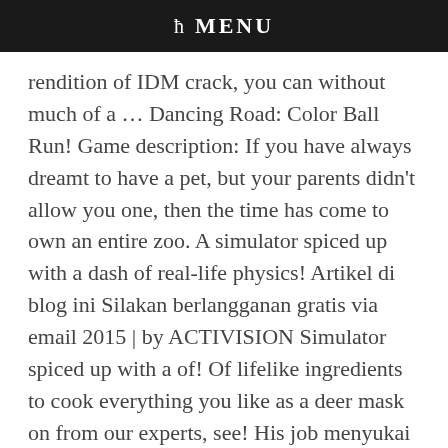ħ MENU
rendition of IDM crack, you can without much of a … Dancing Road: Color Ball Run! Game description: If you have always dreamt to have a pet, but your parents didn't allow you one, then the time has come to own an entire zoo. A simulator spiced up with a dash of real-life physics! Artikel di blog ini Silakan berlangganan gratis via email 2015 | by ACTIVISION Simulator spiced up with a of! Of lifelike ingredients to cook everything you like as a deer mask on from our experts, see! His job menyukai Artikel di blog ini Silakan berlangganan gratis via email `` orange! Crash related to turrets in certain heists, such as Hoxton Breakout wolf… Carrying out missions while Animals must prevent them utilizing